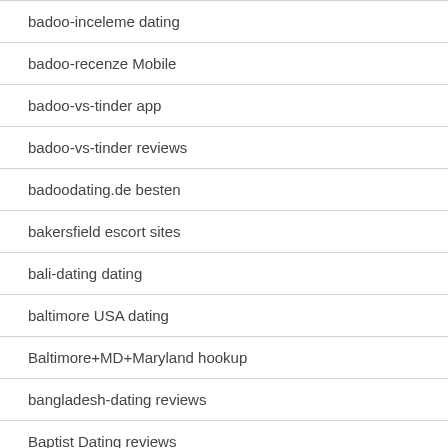badoo-inceleme dating
badoo-recenze Mobile
badoo-vs-tinder app
badoo-vs-tinder reviews
badoodating.de besten
bakersfield escort sites
bali-dating dating
baltimore USA dating
Baltimore+MD+Maryland hookup
bangladesh-dating reviews
Baptist Dating reviews